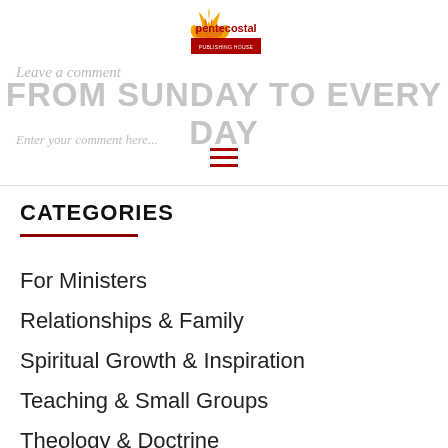Pentecostal Publishing House logo
Leave a comment
FROM SUNDAY TO EVERY DAY
Enter your comment here...
CATEGORIES
For Ministers
Relationships & Family
Spiritual Growth & Inspiration
Teaching & Small Groups
Theology & Doctrine